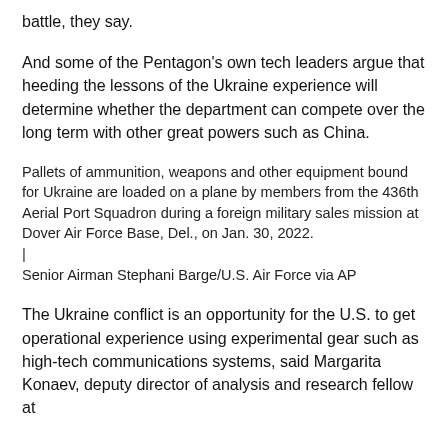battle, they say.
And some of the Pentagon's own tech leaders argue that heeding the lessons of the Ukraine experience will determine whether the department can compete over the long term with other great powers such as China.
Pallets of ammunition, weapons and other equipment bound for Ukraine are loaded on a plane by members from the 436th Aerial Port Squadron during a foreign military sales mission at Dover Air Force Base, Del., on Jan. 30, 2022.
|
Senior Airman Stephani Barge/U.S. Air Force via AP
The Ukraine conflict is an opportunity for the U.S. to get operational experience using experimental gear such as high-tech communications systems, said Margarita Konaev, deputy director of analysis and research fellow at